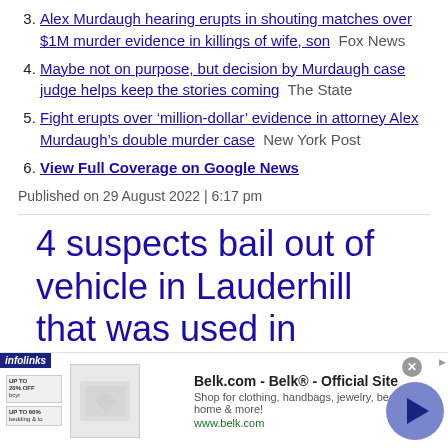3. Alex Murdaugh hearing erupts in shouting matches over $1M murder evidence in killings of wife, son  Fox News
4. Maybe not on purpose, but decision by Murdaugh case judge helps keep the stories coming  The State
5. Fight erupts over ‘million-dollar’ evidence in attorney Alex Murdaugh’s double murder case  New York Post
6. View Full Coverage on Google News
Published on 29 August 2022 | 6:17 pm
4 suspects bail out of vehicle in Lauderhill that was used in
[Figure (screenshot): Advertisement banner for Belk.com - Belk Official Site with infolinks badge, product image, close button, and play button]